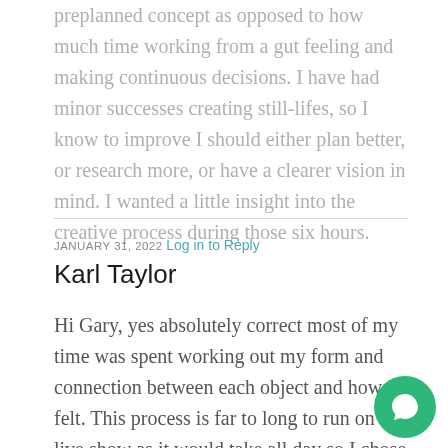preplanned concept as opposed to how much time working from a gut feeling and making continuous decisions. I have had minor successes creating still-lifes, so I know to improve I should either plan better, or research more, or have a clearer vision in mind. I wanted a little insight into the creative process during those six hours.
JANUARY 31, 2022  Log in to Reply
Karl Taylor
Hi Gary, yes absolutely correct most of my time was spent working out my form and connection between each object and how it felt. This process is far to long to run on a live show as it would take all day so I chose to run a repeat version of it here. The choice of props was actually qu… quick as from experience I felt I knew what would work